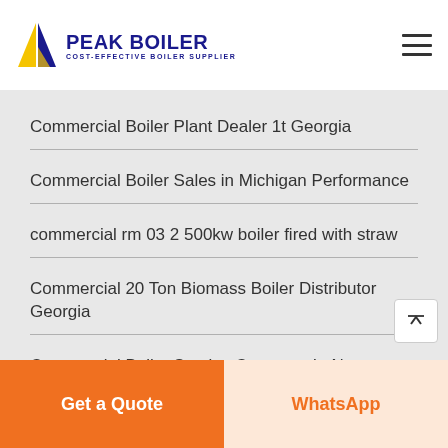PEAK BOILER COST-EFFECTIVE BOILER SUPPLIER
Commercial Boiler Plant Dealer 1t Georgia
Commercial Boiler Sales in Michigan Performance
commercial rm 03 2 500kw boiler fired with straw
Commercial 20 Ton Biomass Boiler Distributor Georgia
Commercial Boiler Service Company In New Jersey